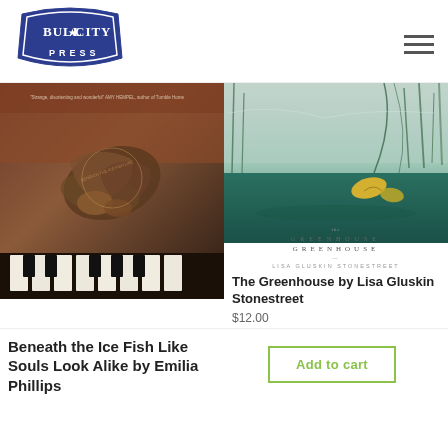[Figure (logo): Bull City Press logo — dark navy badge shape with white serif text 'BULL CITY' and 'PRESS' below]
[Figure (photo): Book cover of 'Beneath the Ice Fish Like Souls Look Alike' — close-up of dry leaves and seed pods on piano keys, dark warm tones]
[Figure (photo): Book cover of 'The Greenhouse' by Lisa Gluskin Stonestreet — misty nature scene with yellow leaf floating on water, green grasses, teal tones]
The Greenhouse by Lisa Gluskin Stonestreet
$12.00
Add to cart
Beneath the Ice Fish Like Souls Look Alike by Emilia Phillips